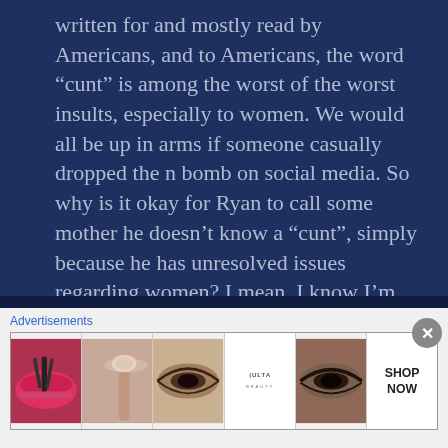written for and mostly read by Americans, and to Americans, the word “cunt” is among the worst of the worst insults, especially to women. We would all be up in arms if someone casually dropped the n bomb on social media. So why is it okay for Ryan to call some mother he doesn’t know a “cunt”, simply because he has unresolved issues regarding women? I mean, I know I’m assuming, but why else would he go there so early?
Advertisements
[Figure (photo): ULTA Beauty advertisement banner with multiple panels showing makeup imagery including lips, brush, eye, ULTA logo, smoky eye, and SHOP NOW text]